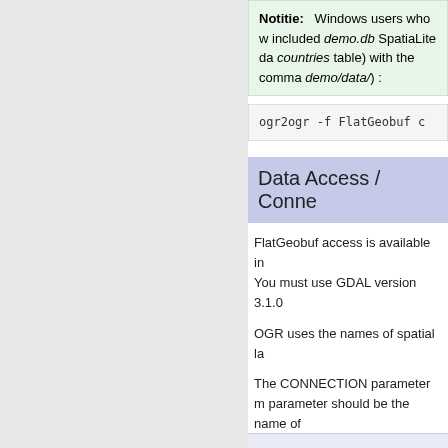Notitie: Windows users who w... included demo.db SpatiaLite da... countries table) with the comma... demo/data/) :
Data Access / Conne...
FlatGeobuf access is available in... You must use GDAL version 3.1.0...
OGR uses the names of spatial la...
The CONNECTION parameter m... parameter should be the name of...
CONNECTIONTYPE OGR
CONNECTION "name.fgb"
DATA "layername"